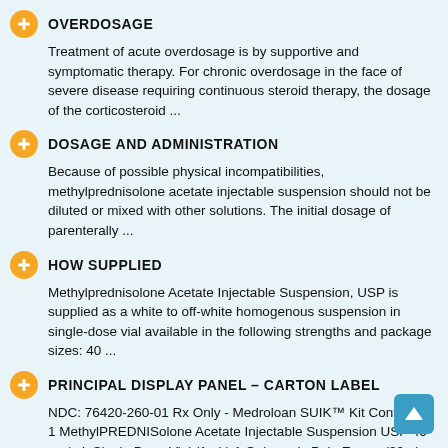OVERDOSAGE
Treatment of acute overdosage is by supportive and symptomatic therapy. For chronic overdosage in the face of severe disease requiring continuous steroid therapy, the dosage of the corticosteroid ...
DOSAGE AND ADMINISTRATION
Because of possible physical incompatibilities, methylprednisolone acetate injectable suspension should not be diluted or mixed with other solutions. The initial dosage of parenterally ...
HOW SUPPLIED
Methylprednisolone Acetate Injectable Suspension, USP is supplied as a white to off-white homogenous suspension in single-dose vial available in the following strengths and package sizes: 40 ...
PRINCIPAL DISPLAY PANEL – CARTON LABEL
NDC: 76420-260-01 Rx Only - Medroloan SUIK™ Kit Contains - 1 MethylPREDNISolone Acetate Injectable Suspension USP 40 mg/mL Single Dose Vial (1mL) 1 Gebauer's Pain Ease - (30ml